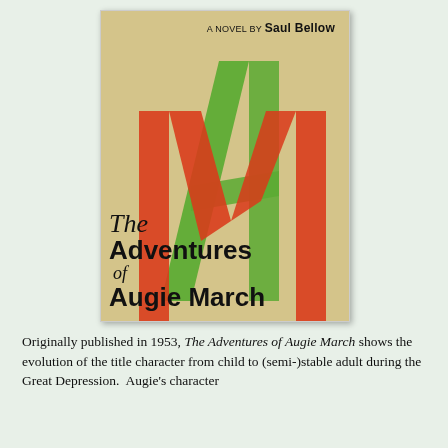[Figure (illustration): Book cover of 'The Adventures of Augie March' by Saul Bellow. Tan/kraft paper background with large overlapping brushstroke letters A and M in green and red. Title text in black reads 'The Adventures of Augie March' with author credit 'A Novel by Saul Bellow' at the top.]
Originally published in 1953, The Adventures of Augie March shows the evolution of the title character from child to (semi-)stable adult during the Great Depression. Augie's character